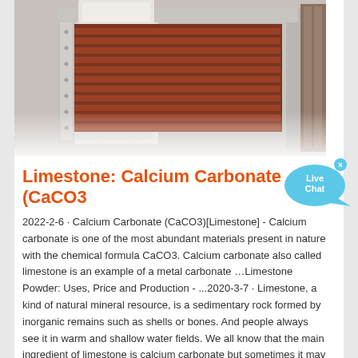[Figure (photo): Industrial machinery photo showing metal conveyor or vibrating feeder equipment with orange/red and silver metallic components in a factory setting]
Limestone: Calcium Carbonate (CaCO3
2022-2-6 · Calcium Carbonate (CaCO3)[Limestone] - Calcium carbonate is one of the most abundant materials present in nature with the chemical formula CaCO3. Calcium carbonate also called limestone is an example of a metal carbonate …Limestone Powder: Uses, Price and Production - ...2020-3-7 · Limestone, a kind of natural mineral resource, is a sedimentary rock formed by inorganic remains such as shells or bones. And people always see it in warm and shallow water fields. We all know that the main ingredient of limestone is calcium carbonate but sometimes it may also contain magnesium, iron or manganese affecting the… Read MoreLimestone